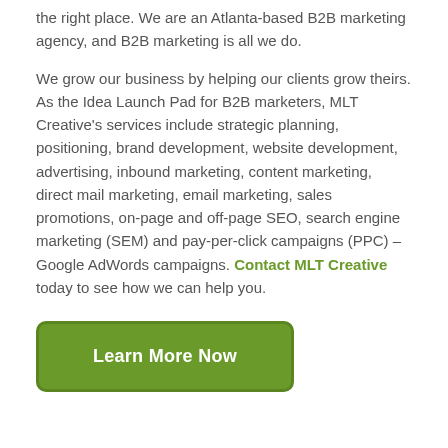the right place. We are an Atlanta-based B2B marketing agency, and B2B marketing is all we do.
We grow our business by helping our clients grow theirs. As the Idea Launch Pad for B2B marketers, MLT Creative's services include strategic planning, positioning, brand development, website development, advertising, inbound marketing, content marketing, direct mail marketing, email marketing, sales promotions, on-page and off-page SEO, search engine marketing (SEM) and pay-per-click campaigns (PPC) – Google AdWords campaigns. Contact MLT Creative today to see how we can help you.
Learn More Now